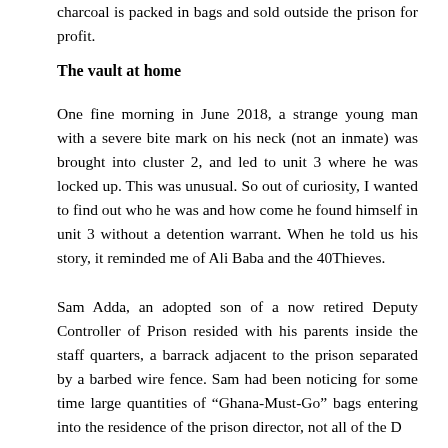charcoal is packed in bags and sold outside the prison for profit.
The vault at home
One fine morning in June 2018, a strange young man with a severe bite mark on his neck (not an inmate) was brought into cluster 2, and led to unit 3 where he was locked up. This was unusual. So out of curiosity, I wanted to find out who he was and how come he found himself in unit 3 without a detention warrant. When he told us his story, it reminded me of Ali Baba and the 40Thieves.
Sam Adda, an adopted son of a now retired Deputy Controller of Prison resided with his parents inside the staff quarters, a barrack adjacent to the prison separated by a barbed wire fence. Sam had been noticing for some time large quantities of “Ghana-Must-Go” bags entering into the residence of the prison director, not all of the D...